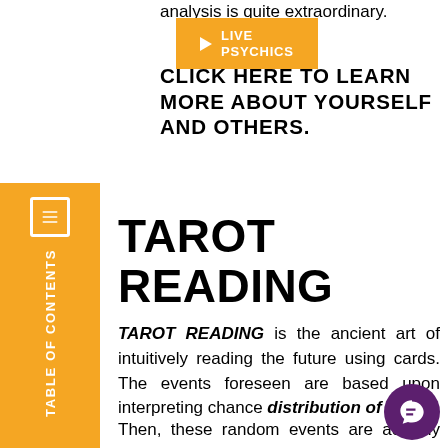analysis is quite extraordinary.
[Figure (other): Orange button with play icon labeled LIVE PSYCHICS]
CLICK HERE TO LEARN MORE ABOUT YOURSELF AND OTHERS.
TABLE OF CONTENTS
TAROT READING
TAROT READING is the ancient art of intuitively reading the future using cards. The events foreseen are based upon interpreting chance distribution of cards.
Then, these random events are actually seen to be synchronistic in